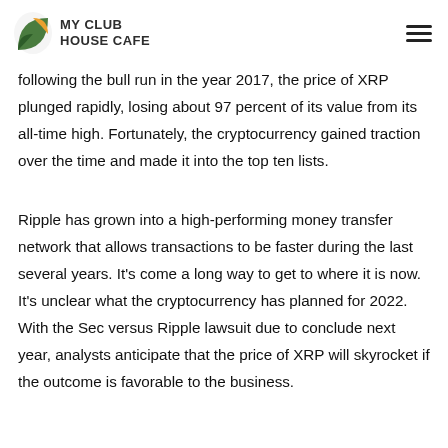MY CLUB HOUSE CAFE
following the bull run in the year 2017, the price of XRP plunged rapidly, losing about 97 percent of its value from its all-time high. Fortunately, the cryptocurrency gained traction over the time and made it into the top ten lists.
Ripple has grown into a high-performing money transfer network that allows transactions to be faster during the last several years. It's come a long way to get to where it is now. It's unclear what the cryptocurrency has planned for 2022. With the Sec versus Ripple lawsuit due to conclude next year, analysts anticipate that the price of XRP will skyrocket if the outcome is favorable to the business.